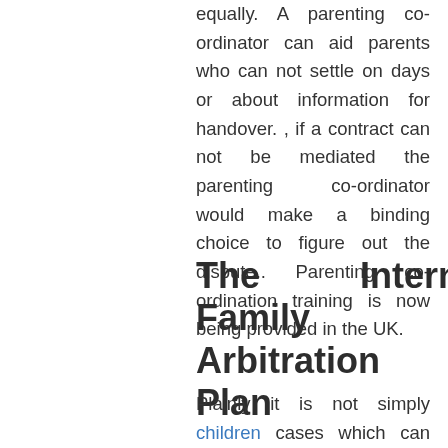equally. A parenting co-ordinator can aid parents who can not settle on days or about information for handover. , if a contract can not be mediated the parenting co-ordinator would make a binding choice to figure out the dispute.. Parenting co-ordination training is now being provided in the UK.
The International Family Law Arbitration Plan
Plainly it is not simply children cases which can profit from alternate conflict resolution. A new initiative was just